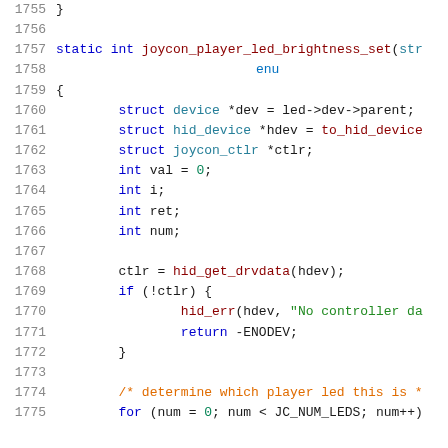Code listing lines 1755-1775 showing joycon_player_led_brightness_set function in C
[Figure (screenshot): C source code snippet showing lines 1755-1775 with syntax highlighting. Includes function declaration for joycon_player_led_brightness_set, variable declarations, ctlr assignment, error check, and start of for loop.]